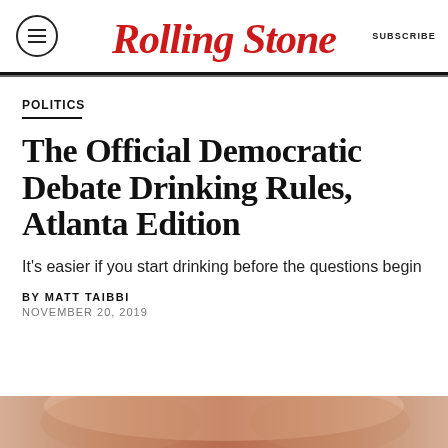Rolling Stone | SUBSCRIBE
POLITICS
The Official Democratic Debate Drinking Rules, Atlanta Edition
It's easier if you start drinking before the questions begin
BY MATT TAIBBI
NOVEMBER 20, 2019
[Figure (photo): Partial photo strip at bottom of page, showing a blurred/cropped image with warm skin tones]